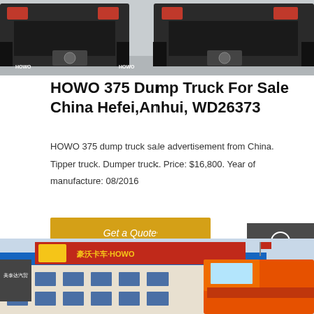[Figure (photo): Rear view of two HOWO dump trucks parked on a lot, showing the truck chassis and rear mudflaps branded HOWO]
HOWO 375 Dump Truck For Sale China Hefei,Anhui, WD26373
HOWO 375 dump truck sale advertisement from China. Tipper truck. Dumper truck. Price: $16,800. Year of manufacture: 08/2016
Get a Quote
[Figure (photo): HOWO SINOTRUK dealership building facade with Chinese signage, featuring an orange HOWO truck visible on the right side]